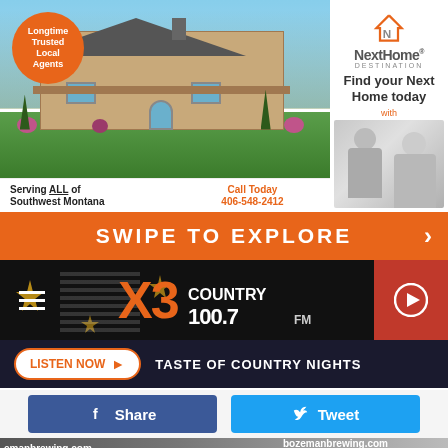[Figure (infographic): Real estate advertisement for NextHome Destination showing a large log cabin style home with mountains, orange circle badge reading 'Longtime Trusted Local Agents'. Right panel shows NextHome logo, tagline 'Find your Next Home today', and two agents in black and white photo. Bottom left shows 'Serving ALL of Southwest Montana' and 'Call Today 406-548-2412']
Longtime Trusted Local Agents
NextHome DESTINATION
Find your Next Home today
with
Serving ALL of Southwest Montana
Call Today 406-548-2412
SWIPE TO EXPLORE
[Figure (screenshot): X3 Country 100.7 FM radio station logo on dark background with stars]
LISTEN NOW
TASTE OF COUNTRY NIGHTS
Share
Tweet
[Figure (photo): Outdoor event with Bozeman Brewing Company tents/canopies. Text visible: 'emanbrewing.com' and 'bozemanbrewing.com']